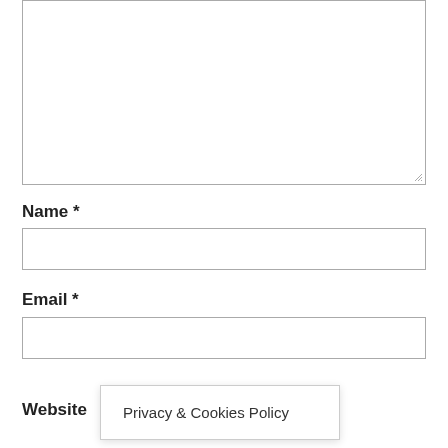[Figure (screenshot): A large empty textarea form input with a resize handle in the bottom-right corner]
Name *
[Figure (screenshot): An empty single-line text input for Name]
Email *
[Figure (screenshot): An empty single-line text input for Email]
Website
Privacy & Cookies Policy